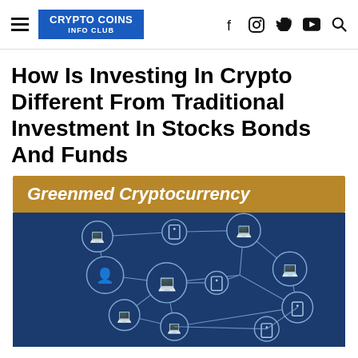CRYPTO COINS INFO CLUB
How Is Investing In Crypto Different From Traditional Investment In Stocks Bonds And Funds
[Figure (infographic): Gold banner reading 'Greenmed Cryptocurrency' followed by a dark blue network diagram showing multiple nodes (circles containing laptop/device icons) connected by lines, representing a blockchain peer-to-peer network.]